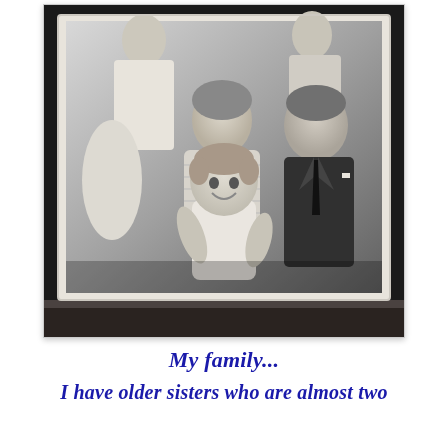[Figure (photo): A black and white framed family portrait photograph showing a couple — a woman and a man in a suit with a tie — with children including a toddler being held, and older girls visible in the background. The photo is displayed in a picture frame with a light inner mat and dark wooden frame at the bottom.]
My family... I have older sisters who are almost two